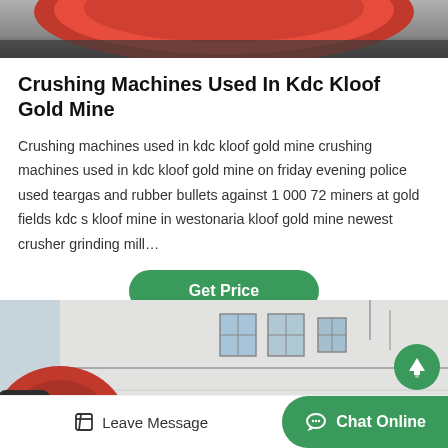[Figure (photo): Top portion of an industrial crushing machine, showing a large red wheel/component against a dark background.]
Crushing Machines Used In Kdc Kloof Gold Mine
Crushing machines used in kdc kloof gold mine crushing machines used in kdc kloof gold mine on friday evening police used teargas and rubber bullets against 1 000 72 miners at gold fields kdc s kloof mine in westonaria kloof gold mine newest crusher grinding mill…
[Figure (other): A green rounded button labeled 'Get Price']
[Figure (photo): Industrial facility with large red crushing/grinding machinery in the foreground and a white multi-story building with windows in the background.]
[Figure (other): Green circular scroll-up button with an upward arrow icon]
Leave Message
Chat Online